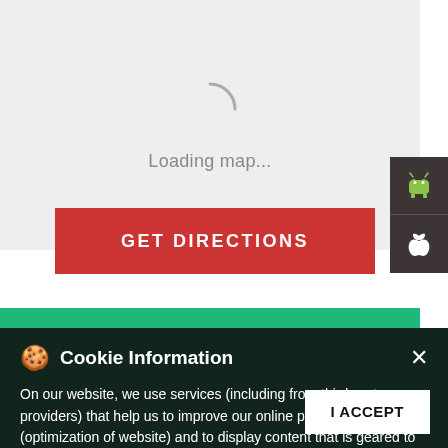[Figure (screenshot): Map loading area with spinner arc and 'Loading map...' text on light grey background]
Loading map...
[Figure (screenshot): Android app button (dark background with Android robot icon)]
[Figure (screenshot): Apple iOS app button (dark background with Apple logo icon)]
[Figure (screenshot): Red GET DIRECTIONS button]
[Figure (screenshot): Green banner strip]
Open a Demat Account and Start Trading:
Open an account
Cookie Information
On our website, we use services (including from third-party providers) that help us to improve our online presence (optimization of website) and to display content that is geared to their interests. We need your consent before being able to use these services.
I ACCEPT